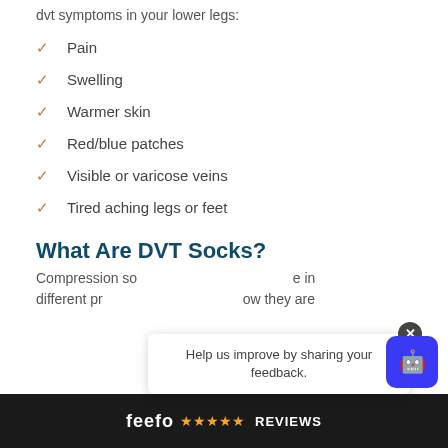dvt symptoms in your lower legs:
Pain
Swelling
Warmer skin
Red/blue patches
Visible or varicose veins
Tired aching legs or feet
What Are DVT Socks?
Compression so... different pr... ow they are